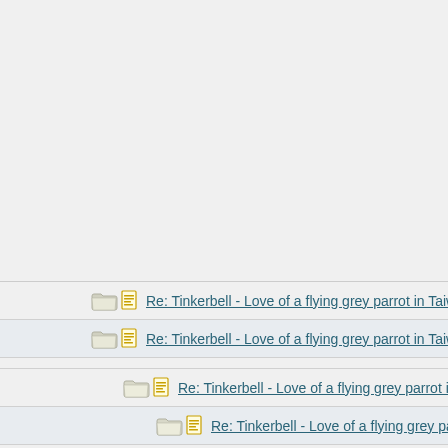Re: Tinkerbell - Love of a flying grey parrot in Taiwa
Re: Tinkerbell - Love of a flying grey parrot in Taiwa
Re: Tinkerbell - Love of a flying grey parrot in Taiwa
Re: Tinkerbell - Love of a flying grey parrot in Taiwa
Re: Tinkerbell - Love of a flying grey parrot in Taiwa
Re: Tinkerbell - Love of a flying grey parrot in Taiwa
Re: Tinkerbell - Love of a flying grey parrot in Taiwa
Re: Tinkerbell - Love of a flying grey parrot in Taiwa
Re: Tinkerbell - Love of a flying grey parrot in Taiwa
Re: Tinkerbell - Love of a flying grey parrot in Taiwa
Re: Tinkerbell - Love of a flying grey parrot in Taiwa